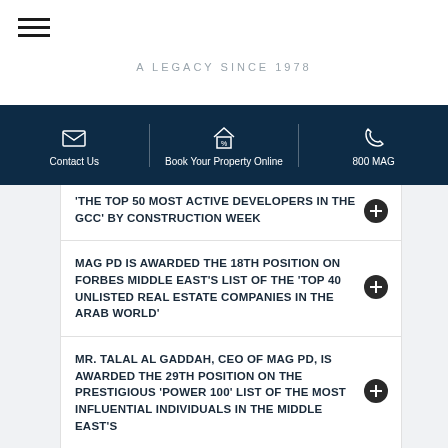A LEGACY SINCE 1978
Contact Us | Book Your Property Online | 800 MAG
THE TOP 50 MOST ACTIVE DEVELOPERS IN THE GCC' BY CONSTRUCTION WEEK
MAG PD IS AWARDED THE 18TH POSITION ON FORBES MIDDLE EAST'S LIST OF THE 'TOP 40 UNLISTED REAL ESTATE COMPANIES IN THE ARAB WORLD'
MR. TALAL AL GADDAH, CEO OF MAG PD, IS AWARDED THE 29TH POSITION ON THE PRESTIGIOUS 'POWER 100' LIST OF THE MOST INFLUENTIAL INDIVIDUALS IN THE MIDDLE EAST'S